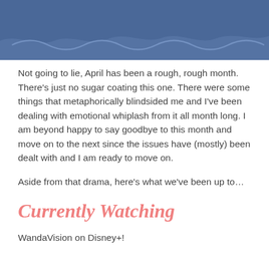[Figure (illustration): Blue banner/header graphic with a wavy decorative line pattern in a lighter blue shade across the bottom portion]
Not going to lie, April has been a rough, rough month. There's just no sugar coating this one. There were some things that metaphorically blindsided me and I've been dealing with emotional whiplash from it all month long. I am beyond happy to say goodbye to this month and move on to the next since the issues have (mostly) been dealt with and I am ready to move on.
Aside from that drama, here's what we've been up to…
Currently Watching
WandaVision on Disney+!